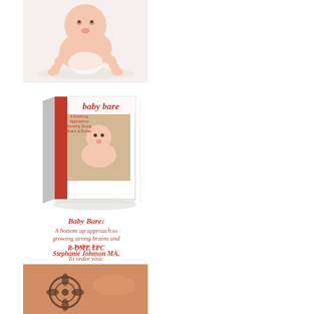[Figure (photo): Photo of a baby crawling on a white background, viewed from slightly above]
[Figure (photo): Book cover advertisement for 'Baby Bare: A bottom up approach to growing strong brains and bodies' by Stephanie Johnson MA, R-DMT, LPC. Shows a 3D book cover with a baby on it, title in red italic text, author name, and website www.SageEducationCenter.com]
[Figure (photo): Partial photo at the bottom showing a person's leg/tattoo, cropped]